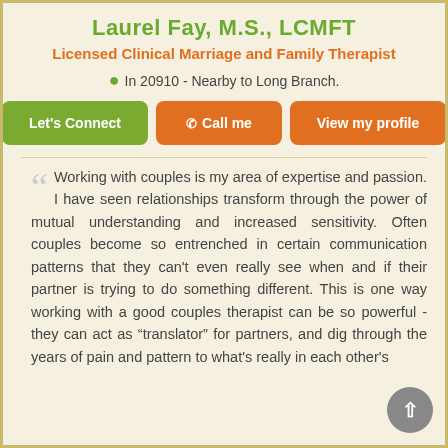Laurel Fay, M.S., LCMFT
Licensed Clinical Marriage and Family Therapist
In 20910 - Nearby to Long Branch.
Let's Connect  Call me  View my profile
Working with couples is my area of expertise and passion. I have seen relationships transform through the power of mutual understanding and increased sensitivity. Often couples become so entrenched in certain communication patterns that they can't even really see when and if their partner is trying to do something different. This is one way working with a good couples therapist can be so powerful - they can act as "translator" for partners, and dig through the years of pain and pattern to what's really in each other's